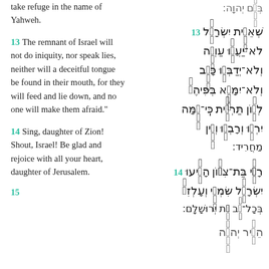take refuge in the name of Yahweh.
13 The remnant of Israel will not do iniquity, nor speak lies, neither will a deceitful tongue be found in their mouth, for they will feed and lie down, and no one will make them afraid."
14 Sing, daughter of Zion! Shout, Israel! Be glad and rejoice with all your heart, daughter of Jerusalem.
15
[Figure (other): Hebrew text of Zephaniah with verse numbers 13 and 14, right-to-left script with cantillation marks, displayed in two columns alongside English translation]